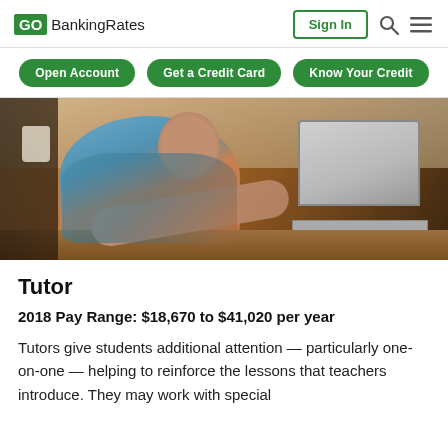GO BankingRates | Sign In
Open Account | Get a Credit Card | Know Your Credit
[Figure (photo): A man with a beard wearing a floral shirt sits at a wooden table working on a laptop, photographed with warm ambient lighting.]
Tutor
2018 Pay Range: $18,670 to $41,020 per year
Tutors give students additional attention — particularly one-on-one — helping to reinforce the lessons that teachers introduce. They may work with special